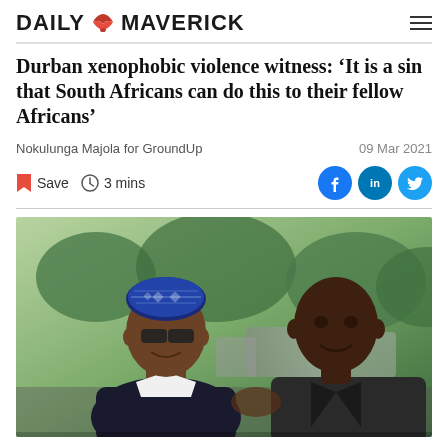DAILY MAVERICK
Durban xenophobic violence witness: ‘It is a sin that South Africans can do this to their fellow Africans’
Nokulunga Majola for GroundUp
09 Mar 2021
Save  3 mins
[Figure (photo): Two men greeting each other warmly. The man on the left wears a blue patterned kufi hat and dark glasses; the man on the right wears a dark suit. Background shows cars and green trees.]